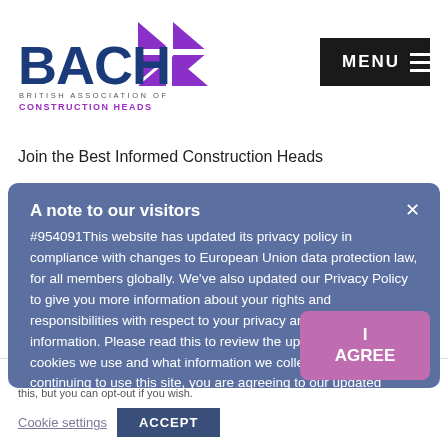[Figure (logo): BACH logo — British Association of Construction Heads. Blue bold text 'BACH' with purple geometric arrow/chevron shapes, below: 'BRITISH ASSOCIATION OF CONSTRUCTION HEADS' in small caps, 'CONSTRUCTION HEADS' in purple bold.]
[Figure (other): MENU button — dark black rectangle with white text 'MENU' and three horizontal white lines (hamburger icon).]
Join the Best Informed Construction Heads
A note to our visitors
#954091This website has updated its privacy policy in compliance with changes to European Union data protection law, for all members globally. We've also updated our Privacy Policy to give you more information about your rights and responsibilities with respect to your privacy and personal information. Please read this to review the updates about which cookies we use and what information we collect on our site. By continuing to use this site, you are agreeing to our updated privacy policy.
This website uses cookies to improve your experience. We'll assume you're ok with this, but you can opt-out if you wish.
Cookie settings   ACCEPT